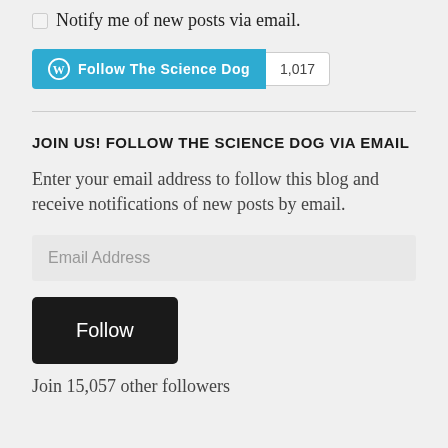Notify me of new posts via email.
[Figure (other): WordPress Follow button with label 'Follow The Science Dog' in teal/blue, followed by a count badge showing '1,017']
JOIN US! FOLLOW THE SCIENCE DOG VIA EMAIL
Enter your email address to follow this blog and receive notifications of new posts by email.
Email Address
Follow
Join 15,057 other followers